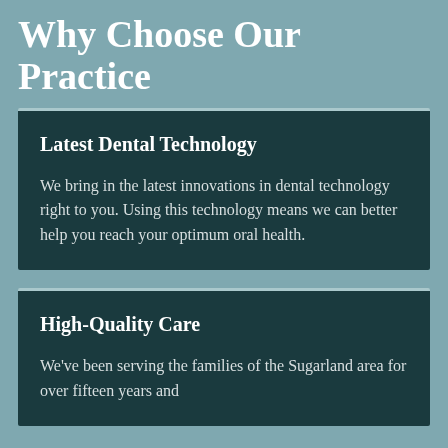Why Choose Our Practice
Latest Dental Technology
We bring in the latest innovations in dental technology right to you. Using this technology means we can better help you reach your optimum oral health.
High-Quality Care
We've been serving the families of the Sugarland area for over fifteen years and